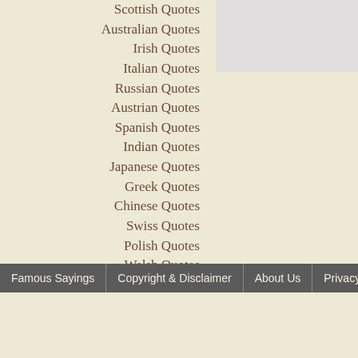Scottish Quotes
Australian Quotes
Irish Quotes
Italian Quotes
Russian Quotes
Austrian Quotes
Spanish Quotes
Indian Quotes
Japanese Quotes
Greek Quotes
Chinese Quotes
Swiss Quotes
Polish Quotes
Welsh Quotes
more »
Famous Sayings | Copyright & Disclaimer | About Us | Privacy Policy